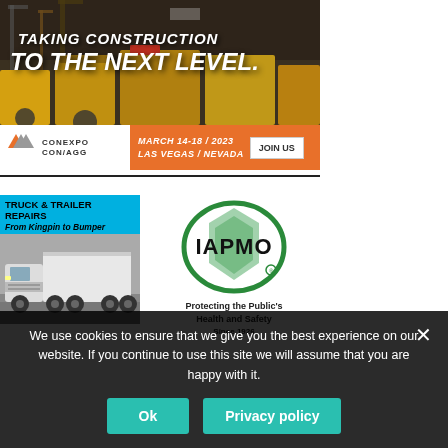[Figure (advertisement): CONEXPO CON/AGG banner ad with construction equipment background. White text reads 'TAKING CONSTRUCTION TO THE NEXT LEVEL.' Orange bottom bar with date MARCH 14-18 / 2023, LAS VEGAS / NEVADA and JOIN US button.]
[Figure (advertisement): Truck & Trailer Repairs ad on cyan/blue background. Text: TRUCK & TRAILER REPAIRS From Kingpin to Bumper. Photo of white truck.]
[Figure (logo): IAPMO logo — green oval with shield shape and IAPMO bold text. Tagline: Protecting the Public's Health and Safety Since 1926.]
We use cookies to ensure that we give you the best experience on our website. If you continue to use this site we will assume that you are happy with it.
Ok
Privacy policy